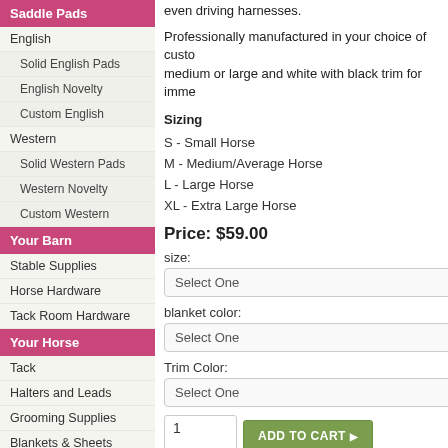Saddle Pads
English
Solid English Pads
English Novelty
Custom English
Western
Solid Western Pads
Western Novelty
Custom Western
Your Barn
Stable Supplies
Horse Hardware
Tack Room Hardware
Your Horse
Tack
Halters and Leads
Grooming Supplies
Blankets & Sheets
Boots & Wraps
Horse Health
even driving harnesses.
Professionally manufactured in your choice of custo... medium or large and white with black trim for imme...
Sizing
S - Small Horse
M - Medium/Average Horse
L - Large Horse
XL - Extra Large Horse
Price: $59.00
size:
Select One
blanket color:
Select One
Trim Color:
Select One
1
ADD TO CART